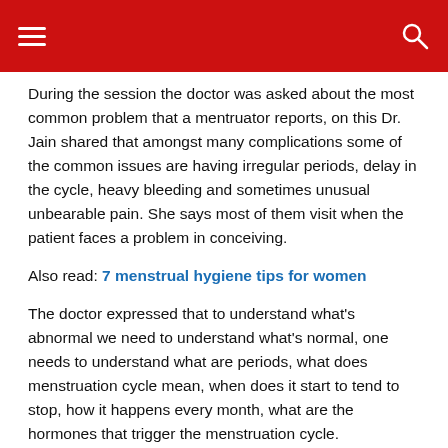≡  🔍
During the session the doctor was asked about the most common problem that a mentruator reports, on this Dr. Jain shared that amongst many complications some of the common issues are having irregular periods, delay in the cycle, heavy bleeding and sometimes unusual unbearable pain. She says most of them visit when the patient faces a problem in conceiving.
Also read: 7 menstrual hygiene tips for women
The doctor expressed that to understand what's abnormal we need to understand what's normal, one needs to understand what are periods, what does menstruation cycle mean, when does it start to tend to stop, how it happens every month, what are the hormones that trigger the menstruation cycle.